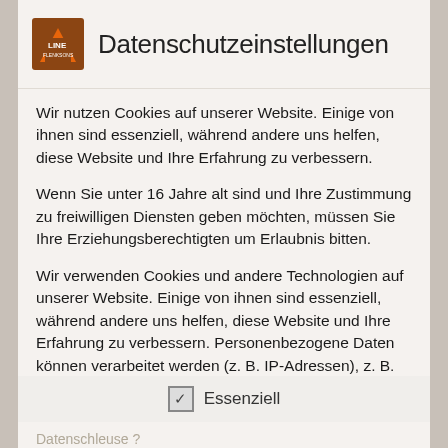Datenschutzeinstellungen
Wir nutzen Cookies auf unserer Website. Einige von ihnen sind essenziell, während andere uns helfen, diese Website und Ihre Erfahrung zu verbessern.
Wenn Sie unter 16 Jahre alt sind und Ihre Zustimmung zu freiwilligen Diensten geben möchten, müssen Sie Ihre Erziehungsberechtigten um Erlaubnis bitten.
Wir verwenden Cookies und andere Technologien auf unserer Website. Einige von ihnen sind essenziell, während andere uns helfen, diese Website und Ihre Erfahrung zu verbessern. Personenbezogene Daten können verarbeitet werden (z. B. IP-Adressen), z. B. für personalisierte Anzeigen und Inhalte oder
✓ Essenziell
Datenschleuse ?
ja
Breite Materialschleuse